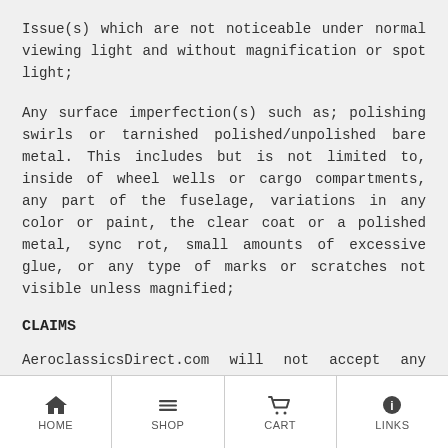Issue(s) which are not noticeable under normal viewing light and without magnification or spot light;
Any surface imperfection(s) such as; polishing swirls or tarnished polished/unpolished bare metal. This includes but is not limited to, inside of wheel wells or cargo compartments, any part of the fuselage, variations in any color or paint, the clear coat or a polished metal, sync rot, small amounts of excessive glue, or any type of marks or scratches not visible unless magnified;
CLAIMS
AeroclassicsDirect.com will not accept any claims for any manufacturing flaws or defects as identified
HOME | SHOP | CART | LINKS